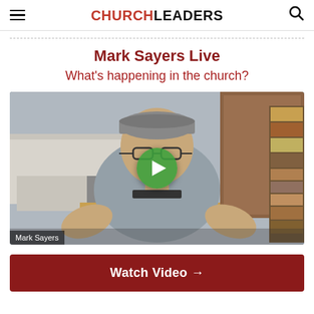CHURCHLEADERS
Mark Sayers Live
What's happening in the church?
[Figure (screenshot): Video thumbnail of Mark Sayers speaking in front of a bookshelf with a green play button overlay. Caption reads 'Mark Sayers'.]
Watch Video →